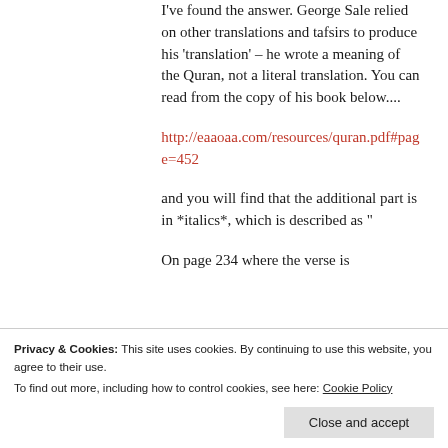I've found the answer. George Sale relied on other translations and tafsirs to produce his 'translation' – he wrote a meaning of the Quran, not a literal translation. You can read from the copy of his book below....
http://eaaoaa.com/resources/quran.pdf#page=452
and you will find that the additional part is in *italics*, which is described as "
On page 234 where the verse is
Privacy & Cookies: This site uses cookies. By continuing to use this website, you agree to their use.
To find out more, including how to control cookies, see here: Cookie Policy